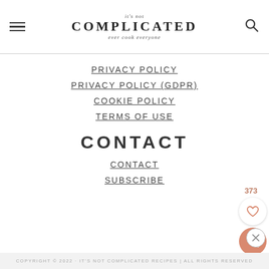it's not COMPLICATED ever cook everyone
PRIVACY POLICY
PRIVACY POLICY (GDPR)
COOKIE POLICY
TERMS OF USE
CONTACT
CONTACT
SUBSCRIBE
COPYRIGHT © 2022 · IT'S NOT COMPLICATED RECIPES | ALL RIGHTS RESERVED